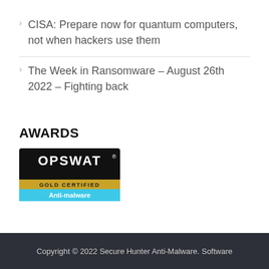CISA: Prepare now for quantum computers, not when hackers use them
The Week in Ransomware – August 26th 2022 – Fighting back
AWARDS
[Figure (logo): OPSWAT Gold Certified Anti-malware badge. Black background with OPSWAT logo in white, gold banner reading GOLD CERTIFIED, and cyan/blue banner reading Anti-malware.]
Copyright © 2022 Secure Hunter Anti-Malware. Software